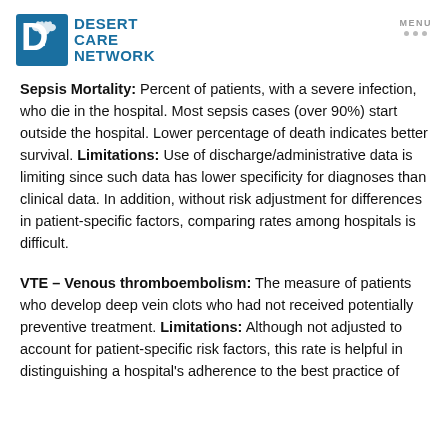Desert Care Network | MENU
Sepsis Mortality: Percent of patients, with a severe infection, who die in the hospital. Most sepsis cases (over 90%) start outside the hospital. Lower percentage of death indicates better survival. Limitations: Use of discharge/administrative data is limiting since such data has lower specificity for diagnoses than clinical data. In addition, without risk adjustment for differences in patient-specific factors, comparing rates among hospitals is difficult.
VTE – Venous thromboembolism: The measure of patients who develop deep vein clots who had not received potentially preventive treatment. Limitations: Although not adjusted to account for patient-specific risk factors, this rate is helpful in distinguishing a hospital's adherence to the best practice of